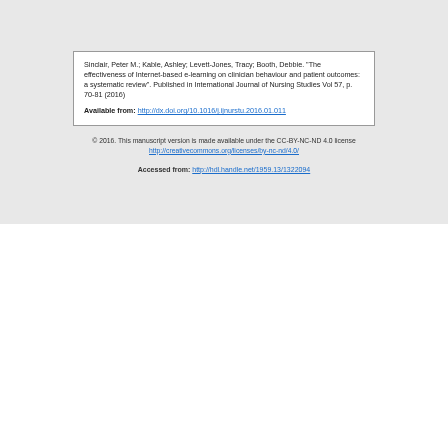Sinclair, Peter M.; Kable, Ashley; Levett-Jones, Tracy; Booth, Debbie. "The effectiveness of Internet-based e-learning on clinician behaviour and patient outcomes: a systematic review". Published in International Journal of Nursing Studies Vol 57, p. 70-81 (2016)

Available from: http://dx.doi.org/10.1016/j.ijnurstu.2016.01.011
© 2016. This manuscript version is made available under the CC-BY-NC-ND 4.0 license http://creativecommons.org/licenses/by-nc-nd/4.0/
Accessed from: http://hdl.handle.net/1959.13/1322094
The effectiveness of Internet-based e-learning on clinician behaviour and patient outcomes: a systematic review
- Sinclair, Peter M., Kable, Ashley, Levett-Jones, Tracy, Booth...